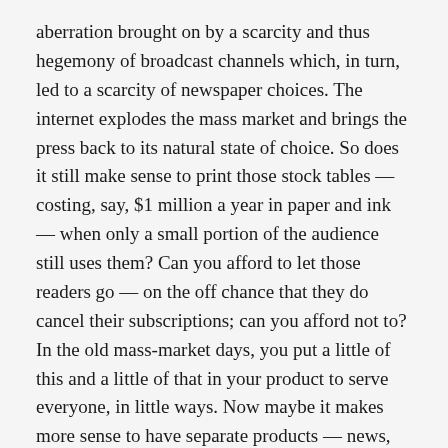aberration brought on by a scarcity and thus hegemony of broadcast channels which, in turn, led to a scarcity of newspaper choices. The internet explodes the mass market and brings the press back to its natural state of choice. So does it still make sense to print those stock tables — costing, say, $1 million a year in paper and ink — when only a small portion of the audience still uses them? Can you afford to let those readers go — on the off chance that they do cancel their subscriptions; can you afford not to? In the old mass-market days, you put a little of this and a little of that in your product to serve everyone, in little ways. Now maybe it makes more sense to have separate products — news, sports, entertainment, lifestyle, business — to serve those audiences in big ways... and serve targeted and efficient advertising as a result. The transition would be painful, in some cases fatal, but this is where the audience is now heading online.